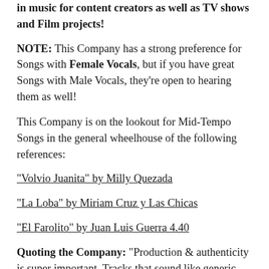in music for content creators as well as TV shows and Film projects!
NOTE: This Company has a strong preference for Songs with Female Vocals, but if you have great Songs with Male Vocals, they're open to hearing them as well!
This Company is on the lookout for Mid-Tempo Songs in the general wheelhouse of the following references:
"Volvio Juanita" by Milly Quezada
"La Loba" by Miriam Cruz y Las Chicas
"El Farolito" by Juan Luis Guerra 4.40
Quoting the Company: "Production & authenticity is super important. Tracks that sound like generic 'library music' won't work. We need Songs with current-sounding